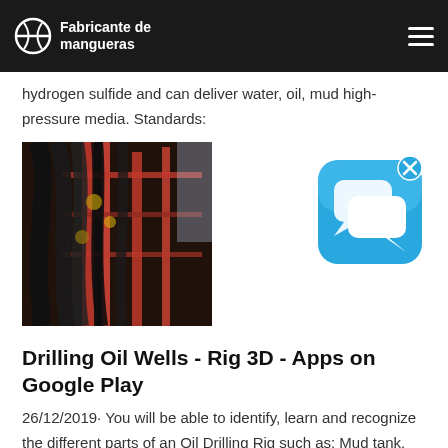Fabricante de mangueras
hydrogen sulfide and can deliver water, oil, mud high-pressure media. Standards:
[Figure (photo): Photo of oil drilling rig hoses/pipes bundled together on red metal structure]
[Figure (other): Chat app icon (blue rounded square with speech bubble icons) with X close button]
Drilling Oil Wells - Rig 3D - Apps on Google Play
26/12/2019· You will be able to identify, learn and recognize the different parts of an Oil Drilling Rig such as: Mud tank, Shale shakers, Mud pumps, Power source,